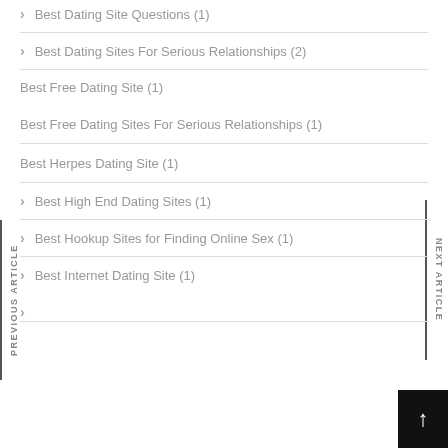Best Dating Site Questions (1)
Best Dating Sites For Serious Relationships (2)
Best Free Dating Site (1)
Best Free Dating Sites For Serious Relationships (1)
Best Herpes Dating Site (1)
Best High End Dating Sites (1)
Best Hookup Sites for Finding Online Sex (1)
Best Internet Dating Site (1)